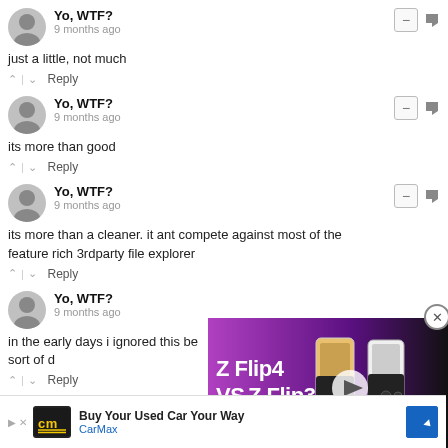Yo, WTF? · 9 months ago — just a little, not much
Yo, WTF? · 9 months ago — its more than good
Yo, WTF? · 9 months ago — its more than a cleaner. it ant compete against most of the feature rich 3rdparty file explorer
Yo, WTF? · 9 months ago — in the early days i ignored this be... sort of d...
[Figure (screenshot): Video overlay showing 'Z Flip4 VS Z Flip3' comparison video thumbnail with play button]
[Figure (screenshot): CarMax advertisement banner: 'Buy Your Used Car Your Way' with CarMax logo and blue arrow icon]